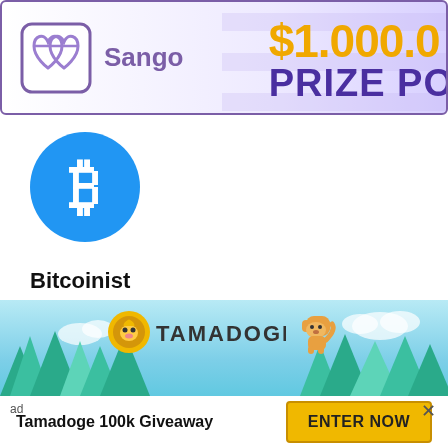[Figure (screenshot): Sango logo banner with '$1,000,000 PRIZE POOL' text, partially cropped on the right]
[Figure (logo): Bitcoin logo — blue circle with white Bitcoin 'B' symbol]
Bitcoinist
Bitcoinist is the ultimate news and review site for the crypto currency community!
[Figure (infographic): Tamadoge advertisement banner with sky, trees, Tamadoge logo, and 'Tamadoge 100k Giveaway' with 'ENTER NOW' button]